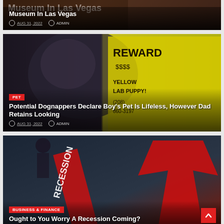[Figure (photo): Article card image - partial view of a museum in Las Vegas with dark warm tones]
AUG 31, 2022
ADMIN
[Figure (photo): Article card with a dog and a yellow REWARD sign for a LAB PUPPY with phone number (208) 860-3197]
PET
Potential Dognappers Declare Boy's Pet Is Lifeless, However Dad Retains Looking
AUG 31, 2022
ADMIN
[Figure (photo): Article card with recession imagery - red arrows and RECESSION signage overlay]
BUSINESS & FINANCE
Ought to You Worry A Recession Coming?